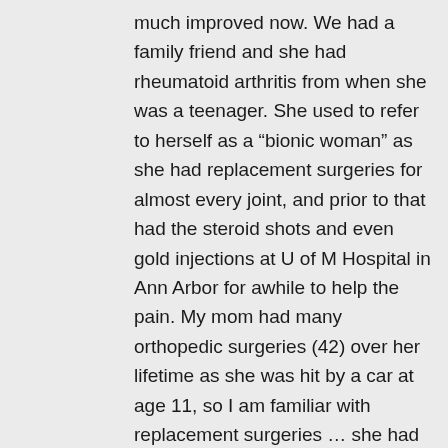much improved now. We had a family friend and she had rheumatoid arthritis from when she was a teenager. She used to refer to herself as a “bionic woman” as she had replacement surgeries for almost every joint, and prior to that had the steroid shots and even gold injections at U of M Hospital in Ann Arbor for awhile to help the pain. My mom had many orthopedic surgeries (42) over her lifetime as she was hit by a car at age 11, so I am familiar with replacement surgeries … she had a hip replacement, then the stem of the